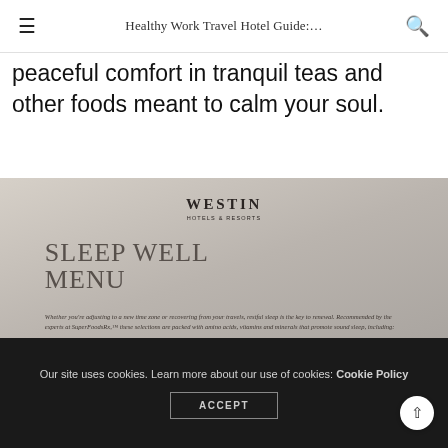Healthy Work Travel Hotel Guide:…
peaceful comfort in tranquil teas and other foods meant to calm your soul.
[Figure (photo): Photo of a Westin Hotels & Resorts 'Sleep Well Menu' card showing the heading 'SLEEP WELL MENU' and menu text about sleep-promoting foods including Tryptophan and Folate, with italic body text describing selections packed with amino acids, vitamins and minerals that promote sound sleep.]
Our site uses cookies. Learn more about our use of cookies: Cookie Policy  ACCEPT